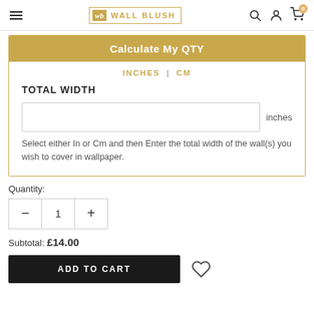Wall Blush - header navigation with logo, search, account, and cart icons
Calculate My QTY
INCHES | CM
TOTAL WIDTH
inches
Select either In or Cm and then Enter the total width of the wall(s) you wish to cover in wallpaper.
Quantity:
1
Subtotal:  £14.00
ADD TO CART